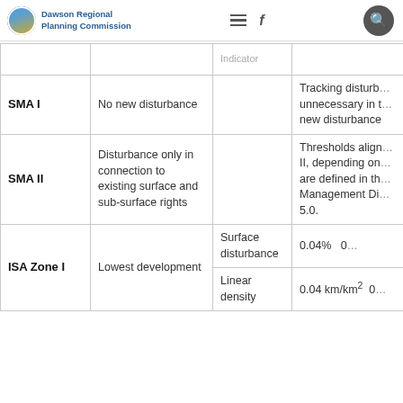Dawson Regional Planning Commission — navigation header
| Zone | Disturbance Type | Threshold Type | Threshold / Notes |
| --- | --- | --- | --- |
|  |  | Indicator |  |
| SMA I | No new disturbance |  | Tracking disturbance unnecessary in the absence of new disturbance |
| SMA II | Disturbance only in connection to existing surface and sub-surface rights |  | Thresholds aligned with SMA II, depending on zone, are defined in the Management Directive 5.0. |
| ISA Zone I | Lowest development | Surface disturbance | 0.04% |
| ISA Zone I | Lowest development | Linear density | 0.04 km/km² |